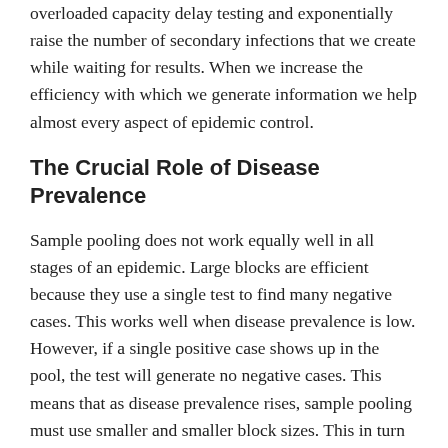overloaded capacity delay testing and exponentially raise the number of secondary infections that we create while waiting for results. When we increase the efficiency with which we generate information we help almost every aspect of epidemic control.
The Crucial Role of Disease Prevalence
Sample pooling does not work equally well in all stages of an epidemic. Large blocks are efficient because they use a single test to find many negative cases. This works well when disease prevalence is low. However, if a single positive case shows up in the pool, the test will generate no negative cases. This means that as disease prevalence rises, sample pooling must use smaller and smaller block sizes. This in turn produces fewer and fewer negative tests per pool. In fact, at the point where 23 percent of the population is infected a Round 1 block size of 10 produces zero efficiency